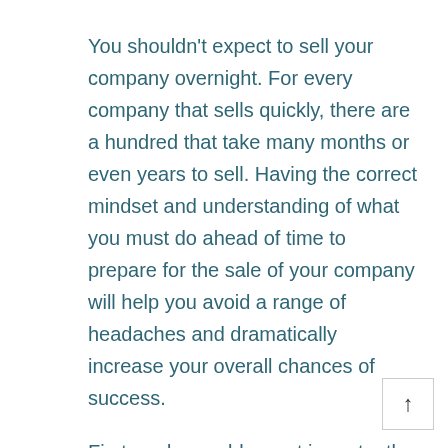You shouldn't expect to sell your company overnight.  For every company that sells quickly, there are a hundred that take many months or even years to sell.  Having the correct mindset and understanding of what you must do ahead of time to prepare for the sale of your company will help you avoid a range of headaches and dramatically increase your overall chances of success.
First, and arguably most importantly, you must have the right frame of mind.  Flexibility is a key attribute for any business owner looking to sell his or her business.  There are many variables involved in selling a business, and that means much can go wrong.  An inflexible owner can even